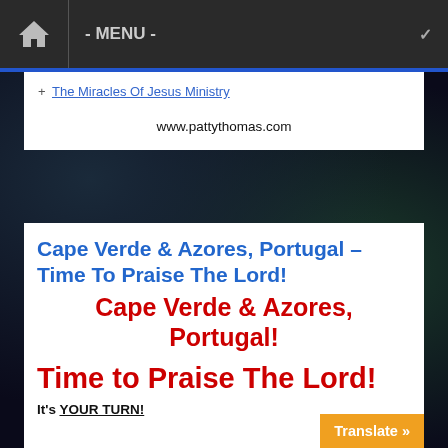- MENU -
+ The Miracles Of Jesus Ministry
www.pattythomas.com
Cape Verde & Azores, Portugal – Time To Praise The Lord!
Cape Verde & Azores, Portugal!
Time to Praise The Lord!
It's YOUR TURN!
Translate »